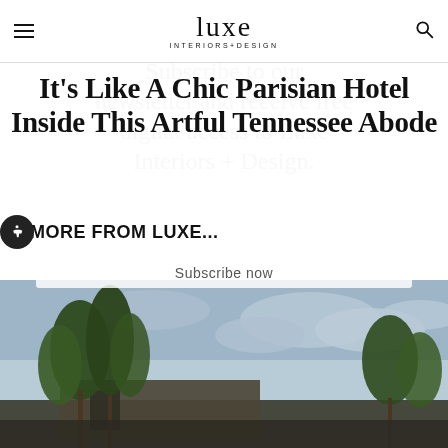luxe INTERIORS+DESIGN
It's Like A Chic Parisian Hotel Inside This Artful Tennessee Abode
Subscribe to our newsletter and receive free digital access to Luxe Interiors + Design.
MORE FROM LUXE...
Subscribe now
[Figure (photo): Exterior architectural photo of a modern Tennessee home with large trees in foreground and cloudy sky background]